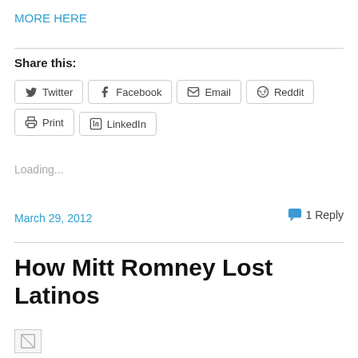MORE HERE
Share this:
Twitter  Facebook  Email  Reddit  Print  LinkedIn
Loading...
March 29, 2012
1 Reply
How Mitt Romney Lost Latinos
[Figure (illustration): Small broken image placeholder icon in bottom left]